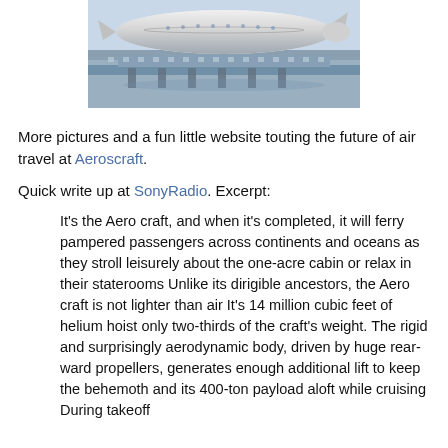[Figure (photo): Aerial or ground-level photo of a large aircraft (resembling an airship/blimp hybrid) at an airport terminal with jetways visible]
More pictures and a fun little website touting the future of air travel at Aeroscraft.
Quick write up at SonyRadio. Excerpt:
It's the Aero craft, and when it's completed, it will ferry pampered passengers across continents and oceans as they stroll leisurely about the one-acre cabin or relax in their staterooms Unlike its dirigible ancestors, the Aero craft is not lighter than air It's 14 million cubic feet of helium hoist only two-thirds of the craft's weight. The rigid and surprisingly aerodynamic body, driven by huge rear-ward propellers, generates enough additional lift to keep the behemoth and its 400-ton payload aloft while cruising During takeoff